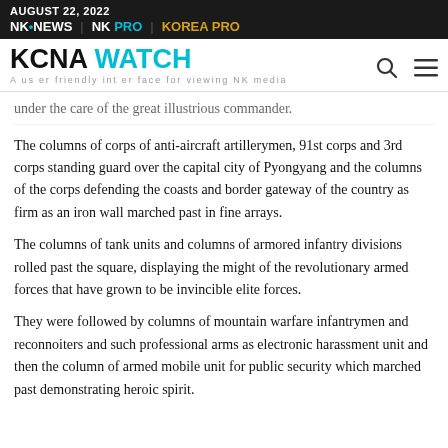AUGUST 22, 2022 | NK NEWS | NK PRO | KOREA PRO
KCNA WATCH — A user friendly interface for viewing NK media
under the care of the great illustrious commander.
The columns of corps of anti-aircraft artillerymen, 91st corps and 3rd corps standing guard over the capital city of Pyongyang and the columns of the corps defending the coasts and border gateway of the country as firm as an iron wall marched past in fine arrays.
The columns of tank units and columns of armored infantry divisions rolled past the square, displaying the might of the revolutionary armed forces that have grown to be invincible elite forces.
They were followed by columns of mountain warfare infantrymen and reconnoiters and such professional arms as electronic harassment unit and then the column of armed mobile unit for public security which marched past demonstrating heroic spirit.